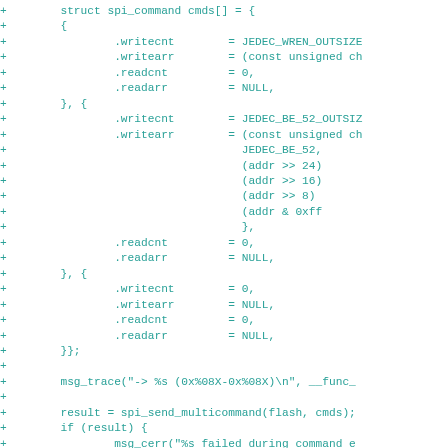[Figure (other): Code diff showing C source code additions (lines prefixed with +) for a struct spi_command array initialization and function calls including msg_trace, spi_send_multicommand, and error handling.]